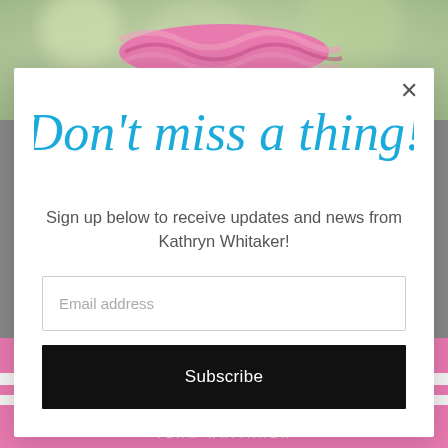[Figure (photo): Top portion of baby/child wearing pink patterned headband, with blurred green background]
[Figure (infographic): Email subscription modal popup with cursive blue 'Don't miss a thing!' heading, subscription text, email input field, and Subscribe button]
Don't miss a thing!
Sign up below to receive updates and news from Kathryn Whitaker!
[Figure (photo): Bottom portion showing pink and white striped clothing with 'TEAM WHITAKER' text and social share buttons (Facebook 9, Twitter 2, Pinterest 9)]